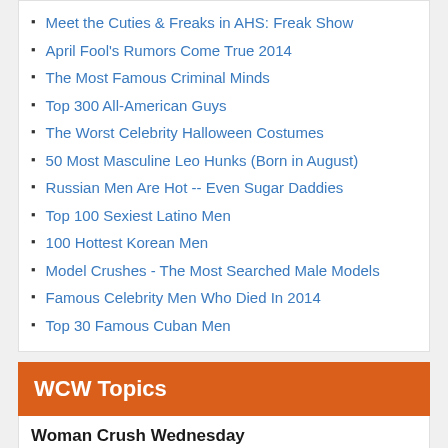Meet the Cuties & Freaks in AHS: Freak Show
April Fool's Rumors Come True 2014
The Most Famous Criminal Minds
Top 300 All-American Guys
The Worst Celebrity Halloween Costumes
50 Most Masculine Leo Hunks (Born in August)
Russian Men Are Hot -- Even Sugar Daddies
Top 100 Sexiest Latino Men
100 Hottest Korean Men
Model Crushes - The Most Searched Male Models
Famous Celebrity Men Who Died In 2014
Top 30 Famous Cuban Men
WCW Topics
Woman Crush Wednesday
Top 30 Hottest Cuban Models & Celebs [HD Photos]
Top 100 Most Gorgeous Italian Women